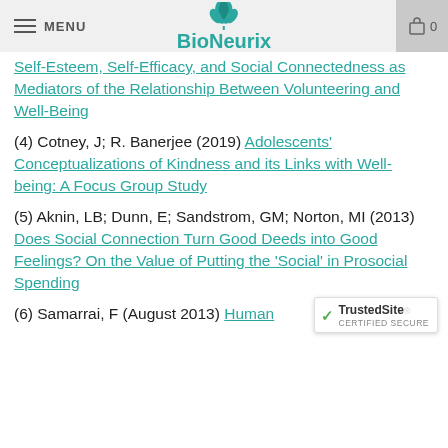MENU | BioNeurix | 0
Self-Esteem, Self-Efficacy, and Social Connectedness as Mediators of the Relationship Between Volunteering and Well-Being
(4) Cotney, J; R. Banerjee (2019) Adolescents' Conceptualizations of Kindness and its Links with Well-being: A Focus Group Study
(5) Aknin, LB; Dunn, E; Sandstrom, GM; Norton, MI (2013) Does Social Connection Turn Good Deeds into Good Feelings? On the Value of Putting the 'Social' in Prosocial Spending
(6) Samarrai, F (August 2013) Human...